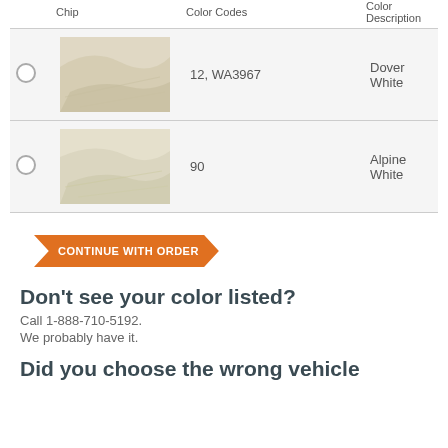|  | Chip | Color Codes | Color Description |
| --- | --- | --- | --- |
| ○ | [chip image] | 12, WA3967 | Dover White |
| ○ | [chip image] | 90 | Alpine White |
CONTINUE WITH ORDER
Don't see your color listed?
Call 1-888-710-5192.
We probably have it.
Did you choose the wrong vehicle